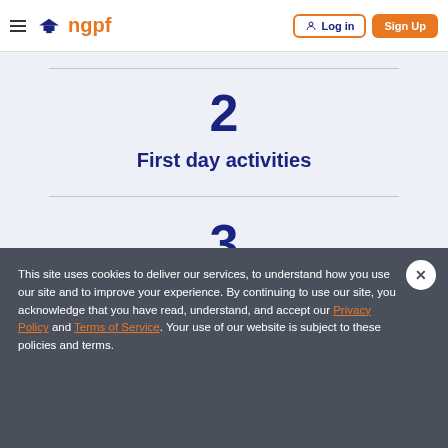ngpf — Log in | Sign Up
2
First day activities
3
This site uses cookies to deliver our services, to understand how you use our site and to improve your experience. By continuing to use our site, you acknowledge that you have read, understand, and accept our Privacy Policy and Terms of Service. Your use of our website is subject to these policies and terms.